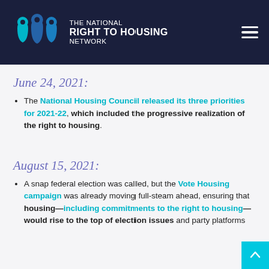THE NATIONAL RIGHT TO HOUSING NETWORK
June 24, 2021:
The National Housing Council released its three priorities for 2021-22, which included the progressive realization of the right to housing.
August 15, 2021:
A snap federal election was called, but the Vote Housing campaign was already moving full-steam ahead, ensuring that housing—including commitments to the right to housing—would rise to the top of election issues and party platforms